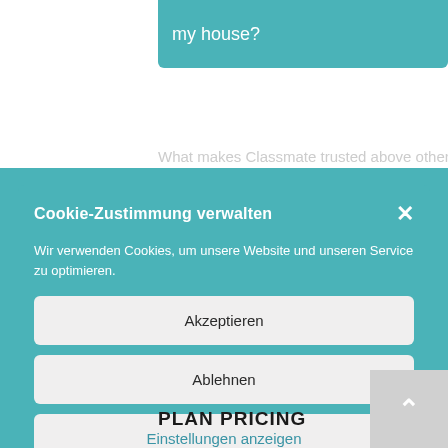my house?
What makes Classmate trusted above other
Cookie-Zustimmung verwalten
Wir verwenden Cookies, um unsere Website und unseren Service zu optimieren.
Akzeptieren
Ablehnen
Einstellungen anzeigen
PLAN PRICING